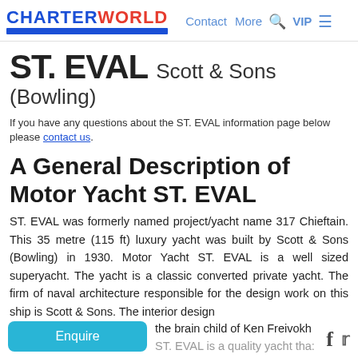CHARTERWORLD | Contact | More | VIP
ST. EVAL Scott & Sons (Bowling)
If you have any questions about the ST. EVAL information page below please contact us.
A General Description of Motor Yacht ST. EVAL
ST. EVAL was formerly named project/yacht name 317 Chieftain. This 35 metre (115 ft) luxury yacht was built by Scott & Sons (Bowling) in 1930. Motor Yacht ST. EVAL is a well sized superyacht. The yacht is a classic converted private yacht. The firm of naval architecture responsible for the design work on this ship is Scott & Sons. The interior design the brain child of Ken Freivokh ST. EVAL is a quality yacht tha: